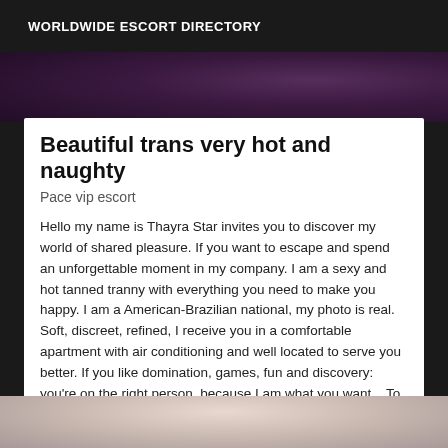WORLDWIDE ESCORT DIRECTORY
[Figure (photo): Partial photo at top, dark purple/maroon toned image cropped at top]
Beautiful trans very hot and naughty
Pace vip escort
Hello my name is Thayra Star invites you to discover my world of shared pleasure. If you want to escape and spend an unforgettable moment in my company. I am a sexy and hot tanned tranny with everything you need to make you happy. I am a American-Brazilian national, my photo is real. Soft, discreet, refined, I receive you in a comfortable apartment with air conditioning and well located to serve you better. If you like domination, games, fun and discovery: you're on the right person, because I am what you want... To start or end your day in joy.
[Figure (photo): Partial photo at bottom, showing a person with light background]